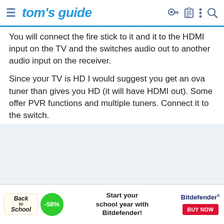tom's guide
You will connect the fire stick to it and it to the HDMI input on the TV and the switches audio out to another audio input on the receiver.
Since your TV is HD I would suggest you get an ova tuner than gives you HD (it will have HDMI out). Some offer PVR functions and multiple tuners. Connect it to the switch.
[Figure (other): Advertisement banner: Back To School -58% discount, Start your school year with Bitdefender! with BUY NOW button]